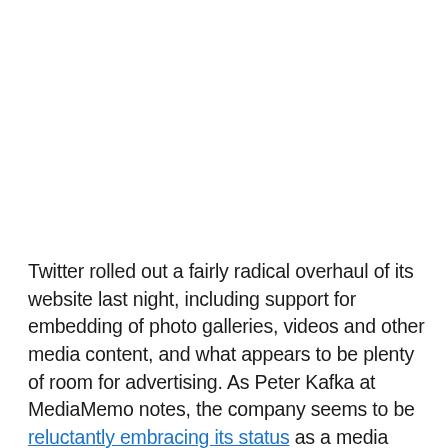Twitter rolled out a fairly radical overhaul of its website last night, including support for embedding of photo galleries, videos and other media content, and what appears to be plenty of room for advertising. As Peter Kafka at MediaMemo notes, the company seems to be reluctantly embracing its status as a media company.Why would it be reluctant to do this? The biggest reason is that — as Hunch founder and angel investor Chris Dixon